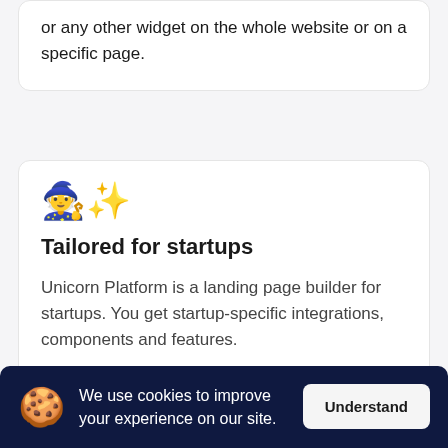or any other widget on the whole website or on a specific page.
Tailored for startups
Unicorn Platform is a landing page builder for startups. You get startup-specific integrations, components and features.
We use cookies to improve your experience on our site.